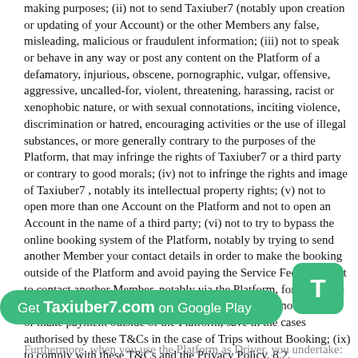making purposes; (ii) not to send Taxiuber7 (notably upon creation or updating of your Account) or the other Members any false, misleading, malicious or fraudulent information; (iii) not to speak or behave in any way or post any content on the Platform of a defamatory, injurious, obscene, pornographic, vulgar, offensive, aggressive, uncalled-for, violent, threatening, harassing, racist or xenophobic nature, or with sexual connotations, inciting violence, discrimination or hatred, encouraging activities or the use of illegal substances, or more generally contrary to the purposes of the Platform, that may infringe the rights of Taxiuber7 or a third party or contrary to good morals; (iv) not to infringe the rights and image of Taxiuber7 , notably its intellectual property rights; (v) not to open more than one Account on the Platform and not to open an Account in the name of a third party; (vi) not to try to bypass the online booking system of the Platform, notably by trying to send another Member your contact details in order to make the booking outside of the Platform and avoid paying the Service Fees; (vii) not to contact another Member, notably via the Platform, for a purpose other than defining the terms of the carpooling; (viii) not to accept or make payment outside of the Platform, save in the cases authorised by these T&Cs in the case of Trips without Booking; (ix) to comply with these T&Cs and the Privacy Policy. 8.2. Undertakings of the Drivers
[Figure (other): Green rounded banner with text 'Get Taxiuber7.com on Google Play']
Furthermore, when you use the Platform as Driver, you undertake: